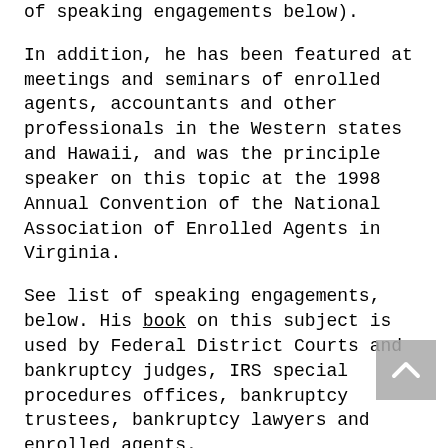of speaking engagements below).
In addition, he has been featured at meetings and seminars of enrolled agents, accountants and other professionals in the Western states and Hawaii, and was the principle speaker on this topic at the 1998 Annual Convention of the National Association of Enrolled Agents in Virginia.
See list of speaking engagements, below. His book on this subject is used by Federal District Courts and bankruptcy judges, IRS special procedures offices, bankruptcy trustees, bankruptcy lawyers and enrolled agents.
His articles have appeared in the American Bar Journal, The San Francisco Recorder, the Journal of the National Association of Enrolled agents, the Journal of the National Association of Chapter 13 Trustees, Norton's Annual Survey of Bankruptcy Law, Norton's Bankruptcy Law Advisor, CCH Journal of Tax Practice & Procedure, and